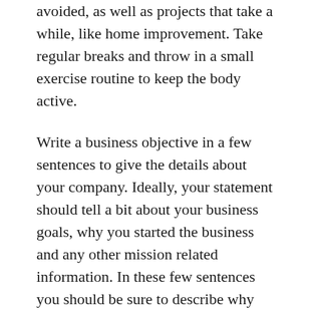avoided, as well as projects that take a while, like home improvement. Take regular breaks and throw in a small exercise routine to keep the body active.
Write a business objective in a few sentences to give the details about your company. Ideally, your statement should tell a bit about your business goals, why you started the business and any other mission related information. In these few sentences you should be sure to describe why your business is unique and what your goals are.
Get receipts from lunches with colleagues and prospects, because you can deduct expenses